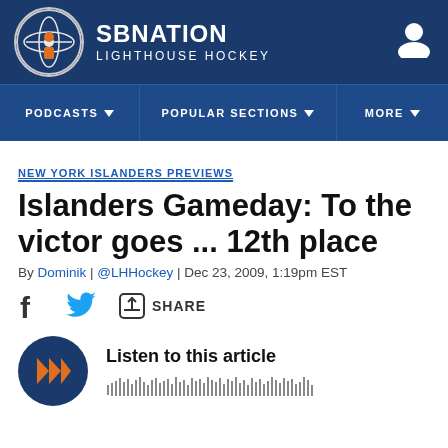[Figure (logo): SBNation Lighthouse Hockey logo with circular badge and navigation bar]
NEW YORK ISLANDERS PREVIEWS
Islanders Gameday: To the victor goes ... 12th place
By Dominik | @LHHockey | Dec 23, 2009, 1:19pm EST
[Figure (infographic): Share bar with Facebook, Twitter, and share icons]
[Figure (infographic): Listen to this article audio player with play button and waveform]